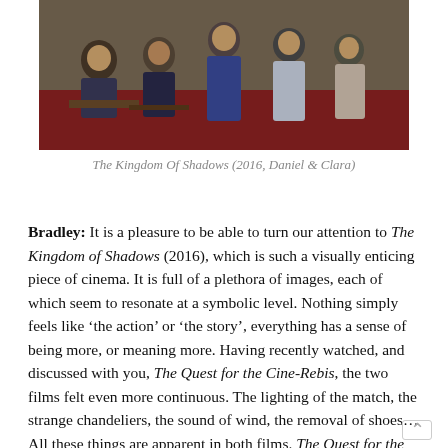[Figure (photo): Group photo of people seated and standing in a room with red carpet, taken from The Kingdom Of Shadows (2016) featuring Daniel and Clara]
The Kingdom Of Shadows (2016, Daniel & Clara)
Bradley: It is a pleasure to be able to turn our attention to The Kingdom of Shadows (2016), which is such a visually enticing piece of cinema. It is full of a plethora of images, each of which seem to resonate at a symbolic level. Nothing simply feels like ‘the action’ or ‘the story’, everything has a sense of being more, or meaning more. Having recently watched, and discussed with you, The Quest for the Cine-Rebis, the two films felt even more continuous. The lighting of the match, the strange chandeliers, the sound of wind, the removal of shoes… All these things are apparent in both films. The Quest for the Cine-Rebis is, of course, a manifesto, and so all these elements take on a deeper significance because of that. It is harder to say what The Kingdom of Shadows is. At points it’s a religious epic based on the stories of Adam and Eve, Cain and Abel, this, of course, imbues each act with a religious connotation. At other points it feels like a drama with tones of a mystery or a